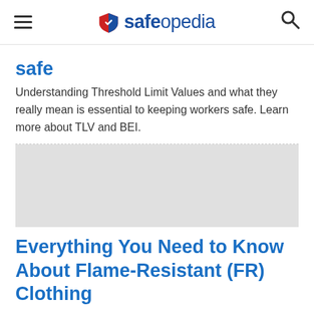safeopedia
safe
Understanding Threshold Limit Values and what they really mean is essential to keeping workers safe. Learn more about TLV and BEI.
[Figure (photo): Article thumbnail image placeholder (grey box)]
Everything You Need to Know About Flame-Resistant (FR) Clothing